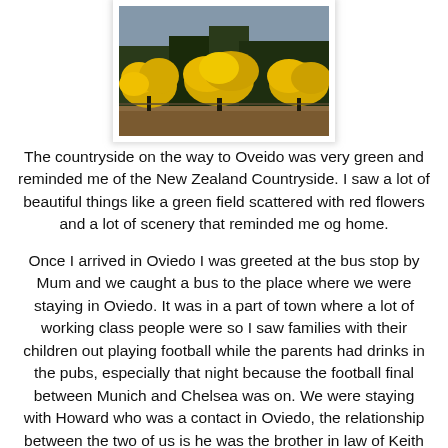[Figure (photo): Landscape photo showing yellow flowering shrubs/trees against a blue-grey sky, with some darker vegetation in the background.]
The countryside on the way to Oveido was very green and reminded me of the New Zealand Countryside. I saw a lot of beautiful things like a green field scattered with red flowers and a lot of scenery that reminded me og home.
Once I arrived in Oviedo I was greeted at the bus stop by Mum and we caught a bus to the place where we were staying in Oviedo. It was in a part of town where a lot of working class people were so I saw families with their children out playing football while the parents had drinks in the pubs, especially that night because the football final between Munich and Chelsea was on. We were staying with Howard who was a contact in Oviedo, the relationship between the two of us is he was the brother in law of Keith who Mum plays recorder with and Alex my Step sister is studying in Oviedo so she stayed with Howard for a time